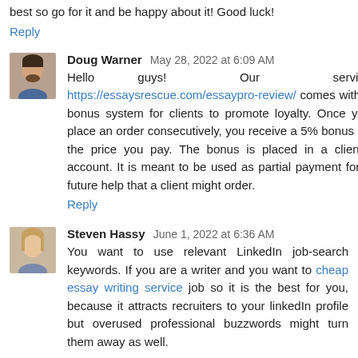best so go for it and be happy about it! Good luck!
Reply
Doug Warner  May 28, 2022 at 6:09 AM
Hello guys! Our service https://essaysrescue.com/essaypro-review/ comes with a bonus system for clients to promote loyalty. Once you place an order consecutively, you receive a 5% bonus on the price you pay. The bonus is placed in a client's account. It is meant to be used as partial payment for a future help that a client might order.
Reply
Steven Hassy  June 1, 2022 at 6:36 AM
You want to use relevant LinkedIn job-search keywords. If you are a writer and you want to cheap essay writing service job so it is the best for you, because it attracts recruiters to your linkedIn profile but overused professional buzzwords might turn them away as well.